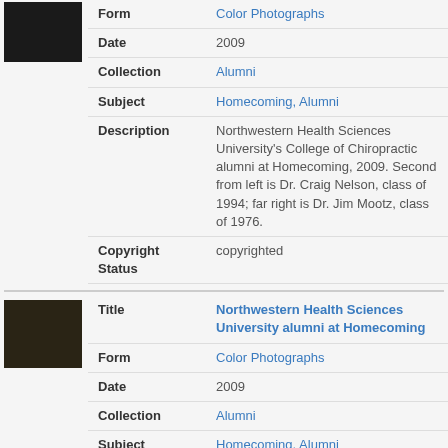[Figure (photo): Small thumbnail photo of people at an event, dark background]
| Form | Color Photographs |
| Date | 2009 |
| Collection | Alumni |
| Subject | Homecoming, Alumni |
| Description | Northwestern Health Sciences University's College of Chiropractic alumni at Homecoming, 2009. Second from left is Dr. Craig Nelson, class of 1994; far right is Dr. Jim Mootz, class of 1976. |
| Copyright Status | copyrighted |
[Figure (photo): Small thumbnail photo of people gathered at an event]
| Title | Northwestern Health Sciences University alumni at Homecoming |
| Form | Color Photographs |
| Date | 2009 |
| Collection | Alumni |
| Subject | Homecoming, Alumni |